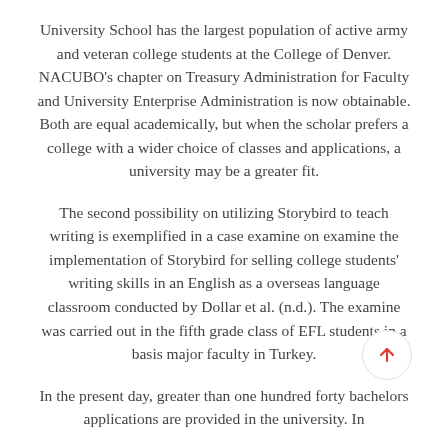University School has the largest population of active army and veteran college students at the College of Denver. NACUBO's chapter on Treasury Administration for Faculty and University Enterprise Administration is now obtainable. Both are equal academically, but when the scholar prefers a college with a wider choice of classes and applications, a university may be a greater fit.
The second possibility on utilizing Storybird to teach writing is exemplified in a case examine on examine the implementation of Storybird for selling college students' writing skills in an English as a overseas language classroom conducted by Dollar et al. (n.d.). The examine was carried out in the fifth grade class of EFL students in a basis major faculty in Turkey.
In the present day, greater than one hundred forty bachelors applications are provided in the university. In